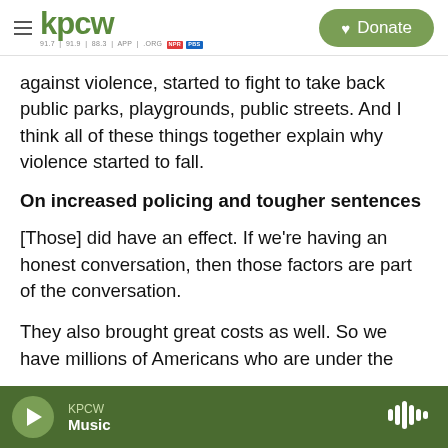KPCW — Donate
against violence, started to fight to take back public parks, playgrounds, public streets. And I think all of these things together explain why violence started to fall.
On increased policing and tougher sentences
[Those] did have an effect. If we're having an honest conversation, then those factors are part of the conversation.
They also brought great costs as well. So we have millions of Americans who are under the
KPCW — Music